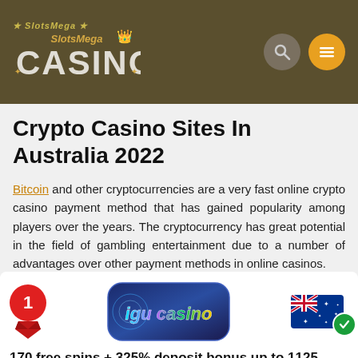[Figure (logo): SlotsMega Casino logo on dark olive/brown header background with search icon and hamburger menu icon]
Crypto Casino Sites In Australia 2022
Bitcoin and other cryptocurrencies are a very fast online crypto casino payment method that has gained popularity among players over the years. The cryptocurrency has great potential in the field of gambling entertainment due to a number of advantages over other payment methods in online casinos.
[Figure (logo): Casino card: Rank 1 red medal badge, Igu Casino logo (blue/purple rounded rectangle with holographic text), Australian flag with green checkmark, bonus text: 170 free spins + 325% deposit bonus up to 1125 AUD]